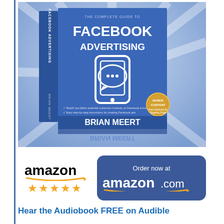[Figure (photo): Book cover of 'The Complete Guide to Facebook Advertising' by Brian Meert, showing a 3D book with blue rays background, smartphone with chat bubble icon, and bullet points about reaching customers on Facebook and Instagram.]
[Figure (infographic): Amazon logo with 5 gold stars rating on the left, and a blue rounded button 'Order now at amazon.com' with Amazon arrow logo on the right.]
Hear the Audiobook FREE on Audible